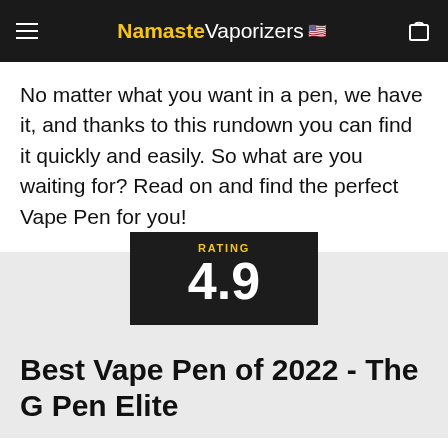Namaste Vaporizers 🇺🇸
No matter what you want in a pen, we have it, and thanks to this rundown you can find it quickly and easily. So what are you waiting for? Read on and find the perfect Vape Pen for you!
[Figure (infographic): Dark badge showing RATING label in gold and large number 4.9 in white on dark background]
Best Vape Pen of 2022 - The G Pen Elite